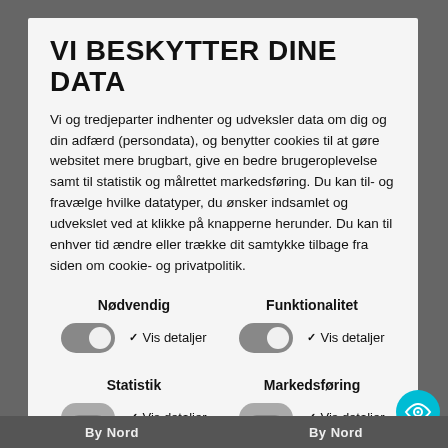VI BESKYTTER DINE DATA
Vi og tredjeparter indhenter og udveksler data om dig og din adfærd (persondata), og benytter cookies til at gøre websitet mere brugbart, give en bedre brugeroplevelse samt til statistik og målrettet markedsføring. Du kan til- og fravælge hvilke datatyper, du ønsker indsamlet og udvekslet ved at klikke på knapperne herunder. Du kan til enhver tid ændre eller trække dit samtykke tilbage fra siden om cookie- og privatpolitik.
Nødvendig
Vis detaljer
Funktionalitet
Vis detaljer
Statistik
Vis detaljer
Markedsføring
Vis detaljer
KUN NØDVENDIGE
ACCEPTER ALLE